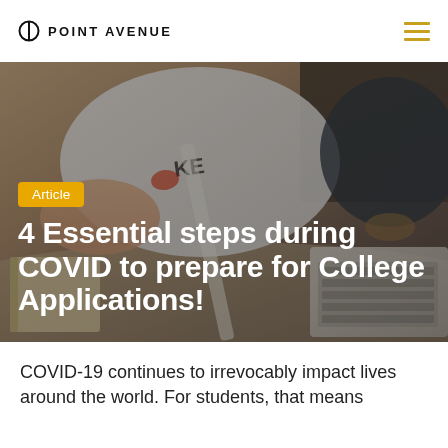POINT AVENUE
[Figure (photo): Student studying at a desk, wearing a Nike t-shirt, with a laptop and notebooks, viewed from above at an angle. Photo used as hero banner background.]
Article
4 Essential steps during COVID to prepare for College Applications!
COVID-19 continues to irrevocably impact lives around the world. For students, that means...